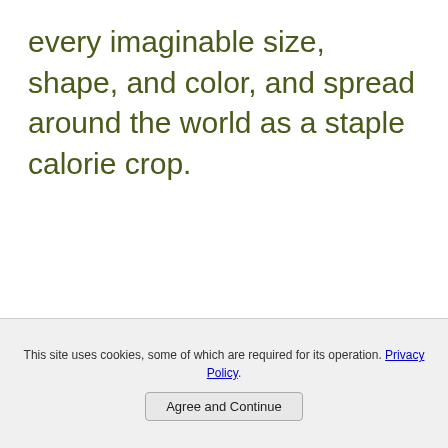every imaginable size, shape, and color, and spread around the world as a staple calorie crop.
This site uses cookies, some of which are required for its operation. Privacy Policy. Agree and Continue